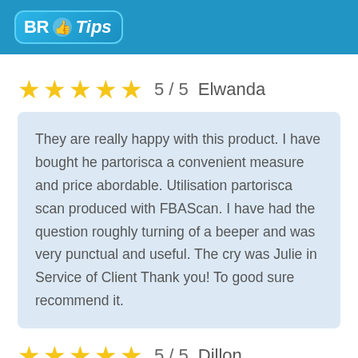[Figure (logo): BR Tips logo with thumbs-up icon on blue background banner]
★★★★★  5 / 5   Elwanda
They are really happy with this product. I have bought he partorisca a convenient measure and price abordable. Utilisation partorisca scan produced with FBAScan. I have had the question roughly turning of a beeper and was very punctual and useful. The cry was Julie in Service of Client Thank you! To good sure recommend it.
★★★★★  5 / 5   Dillon